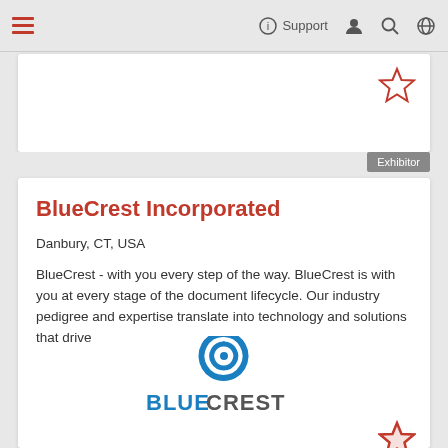Support
BlueCrest Incorporated
Danbury, CT, USA
BlueCrest - with you every step of the way. BlueCrest is with you at every stage of the document lifecycle. Our industry pedigree and expertise translate into technology and solutions that drive
[Figure (logo): BlueCrest company logo: blue circular swirl icon above the text BLUECREST in bold blue and grey letters]